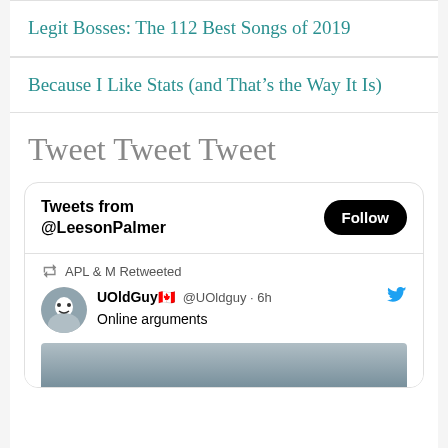Legit Bosses: The 112 Best Songs of 2019
Because I Like Stats (and That’s the Way It Is)
Tweet Tweet Tweet
[Figure (screenshot): Embedded Twitter widget showing 'Tweets from @LeesonPalmer' with a Follow button, a retweet by APL & M, tweet by UOldGuy with Canadian flag emoji @UOldguy 6h saying 'Online arguments', with a partial image below.]